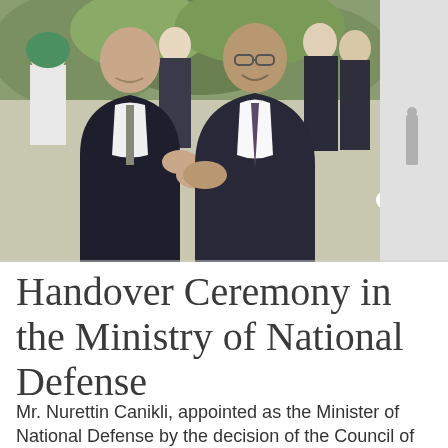[Figure (photo): Two men in dark suits shaking hands outdoors, likely a handover ceremony. Several other people visible in the background including a woman in a green headscarf. The scene appears to be in a garden or courtyard with trees.]
Handover Ceremony in the Ministry of National Defense
Mr. Nurettin Canikli, appointed as the Minister of National Defense by the decision of the Council of Ministers, which took place on 19